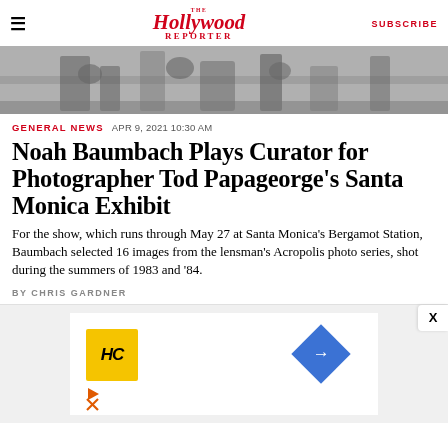The Hollywood Reporter | SUBSCRIBE
[Figure (photo): Black and white photo of people at what appears to be a rocky outdoor location, partially cropped at top of page]
GENERAL NEWS  APR 9, 2021 10:30 AM
Noah Baumbach Plays Curator for Photographer Tod Papageorge's Santa Monica Exhibit
For the show, which runs through May 27 at Santa Monica's Bergamot Station, Baumbach selected 16 images from the lensman's Acropolis photo series, shot during the summers of 1983 and '84.
BY CHRIS GARDNER
[Figure (other): Advertisement area showing HC logo (yellow square), navigation arrow icon (blue diamond), play button and X close button]